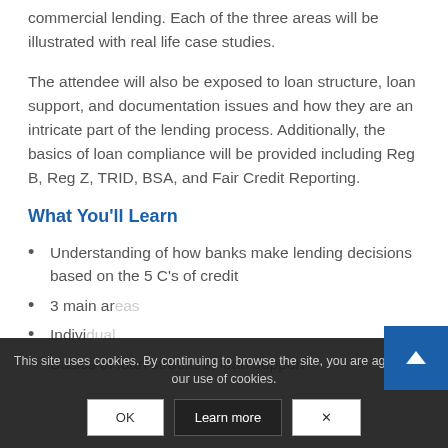commercial lending. Each of the three areas will be illustrated with real life case studies.
The attendee will also be exposed to loan structure, loan support, and documentation issues and how they are an intricate part of the lending process. Additionally, the basics of loan compliance will be provided including Reg B, Reg Z, TRID, BSA, and Fair Credit Reporting.
What You'll Learn
Understanding of how banks make lending decisions based on the 5 C's of credit
3 main ar[eas]...
Indivi[dual]... s[tudies/]...
Basics of loan structure, loan support